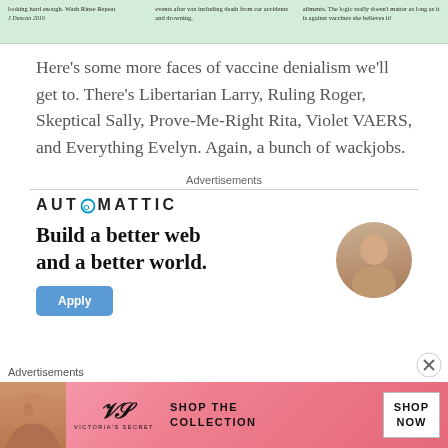[Figure (screenshot): Green-tinted banner with three columns of small text about vaccine denialism, with a byline 'J Duncan 2019']
Here's some more faces of vaccine denialism we'll get to. There's Libertarian Larry, Ruling Roger, Skeptical Sally, Prove-Me-Right Rita, Violet VAERS, and Everything Evelyn. Again, a bunch of wackjobs.
Advertisements
[Figure (logo): Automattic logo with circled O and tagline 'Build a better web and a better world.' with an Apply button and a photo of a man]
Advertisements
[Figure (screenshot): Victoria's Secret advertisement banner: SHOP THE COLLECTION / SHOP NOW]